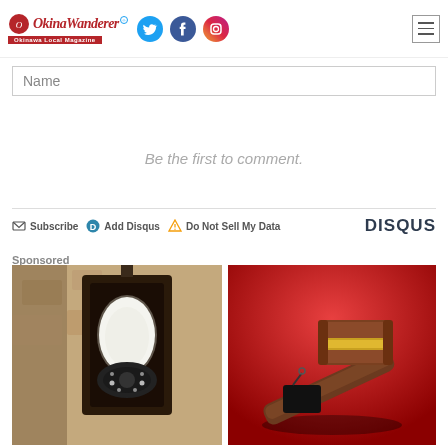[Figure (screenshot): Website header for OkinaWanderer - Okinawa Local Magazine with logo, Twitter, Facebook, Instagram social media icons, and hamburger menu]
Name
Be the first to comment.
Subscribe  Add Disqus  Do Not Sell My Data  DISQUS
Sponsored
[Figure (photo): Outdoor wall lamp with a security camera bulb attachment on a stucco wall]
[Figure (photo): Wooden gavel on a red background with a price tag]